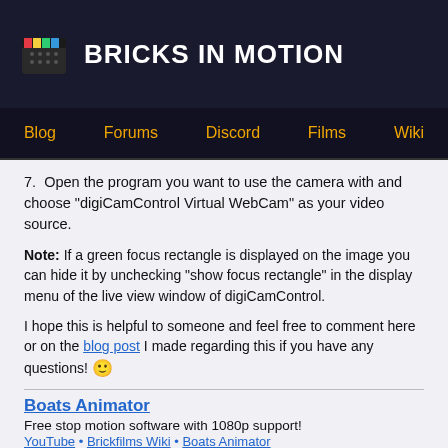BRICKS IN MOTION
Blog | Forums | Discord | Films | Wiki
7. Open the program you want to use the camera with and choose "digiCamControl Virtual WebCam" as your video source.
Note: If a green focus rectangle is displayed on the image you can hide it by unchecking "show focus rectangle" in the display menu of the live view window of digiCamControl.
I hope this is helpful to someone and feel free to comment here or on the blog post I made regarding this if you have any questions! 🙂
Boats Animator
Free stop motion software with 1080p support!
YouTube • Brickfilms Wiki • Boats Animator